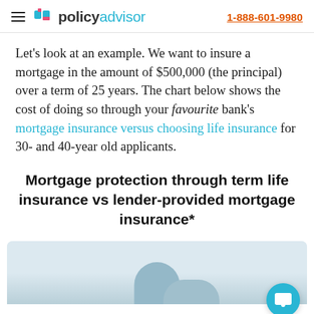policyadvisor — 1-888-601-9980
Let's look at an example. We want to insure a mortgage in the amount of $500,000 (the principal) over a term of 25 years. The chart below shows the cost of doing so through your favourite bank's mortgage insurance versus choosing life insurance for 30- and 40-year old applicants.
Mortgage protection through term life insurance vs lender-provided mortgage insurance*
[Figure (photo): Partial image of a person (chat screenshot preview) with a teal chat bubble icon in the bottom right corner]